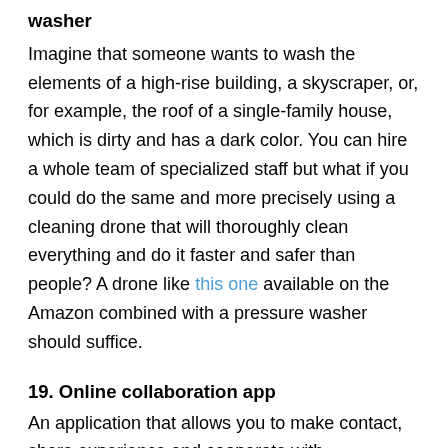washer
Imagine that someone wants to wash the elements of a high-rise building, a skyscraper, or, for example, the roof of a single-family house, which is dirty and has a dark color. You can hire a whole team of specialized staff but what if you could do the same and more precisely using a cleaning drone that will thoroughly clean everything and do it faster and safer than people? A drone like this one available on the Amazon combined with a pressure washer should suffice.
19. Online collaboration app
An application that allows you to make contact, share experience and cooperate with